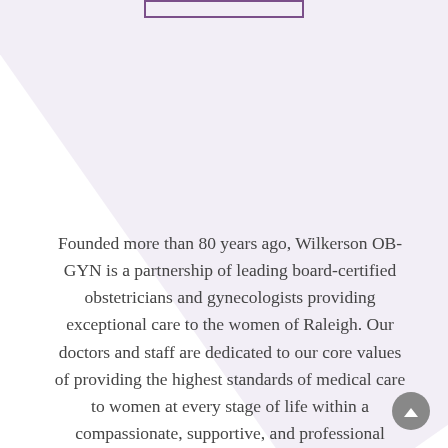[Figure (other): Decorative diagonal lavender band across the upper portion of the page, with a purple-bordered rectangular box at the top center]
Founded more than 80 years ago, Wilkerson OB-GYN is a partnership of leading board-certified obstetricians and gynecologists providing exceptional care to the women of Raleigh. Our doctors and staff are dedicated to our core values of providing the highest standards of medical care to women at every stage of life within a compassionate, supportive, and professional environment.